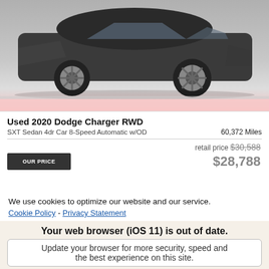[Figure (photo): Photo of a dark gray/black used 2020 Dodge Charger RWD sedan, viewed from a rear three-quarter angle, parked. Below the car image is a pink/rose banner strip.]
Used 2020 Dodge Charger RWD
SXT Sedan 4dr Car 8-Speed Automatic w/OD   60,372 Miles
retail price $30,588
$28,788
We use cookies to optimize our website and our service.
Cookie Policy - Privacy Statement
Your web browser (iOS 11) is out of date.
Update your browser for more security, speed and the best experience on this site.